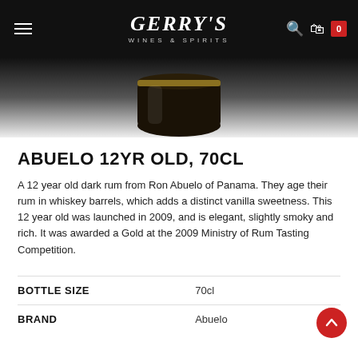GERRY'S WINES & SPIRITS
[Figure (photo): Bottom portion of a dark rum bottle (Abuelo 12yr Old) showing the base/cap area against a dark to white gradient background]
ABUELO 12YR OLD, 70CL
A 12 year old dark rum from Ron Abuelo of Panama. They age their rum in whiskey barrels, which adds a distinct vanilla sweetness. This 12 year old was launched in 2009, and is elegant, slightly smoky and rich. It was awarded a Gold at the 2009 Ministry of Rum Tasting Competition.
| Property | Value |
| --- | --- |
| BOTTLE SIZE | 70cl |
| BRAND | Abuelo |